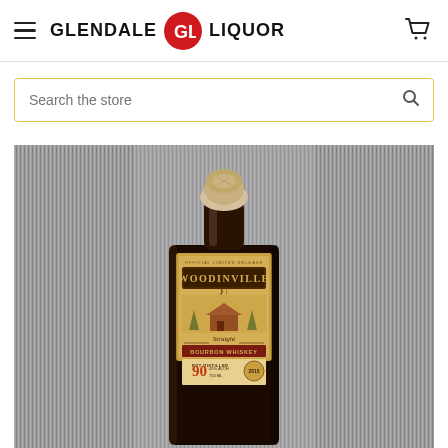GLENDALE GL LIQUOR
Search the store
[Figure (photo): A bottle of Woodinville Straight Whiskey with a cork stopper, sitting against a gray brushed metal background. The label reads 'WOODINVILLE', 'Straight', 'POT DISTILLED', '90', '45% ALCH', '750 ML'. The bottle is dark amber colored with a decorative label featuring a barn/farm scene.]